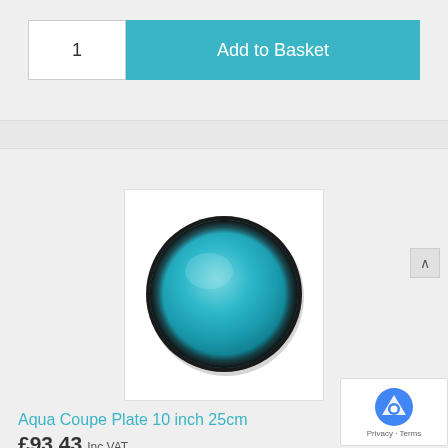1
Add to Basket
[Figure (photo): Aqua teal/turquoise colored round coupe plate viewed from above, with dark rim, on white background]
Aqua Coupe Plate 10 inch 25cm
£93.43 Inc VAT
1
Add to Basket
Privacy · Terms